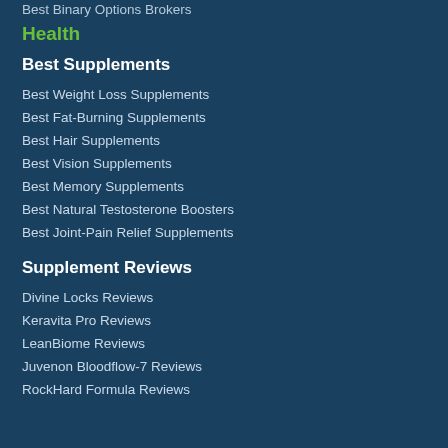Best Binary Options Brokers
Health
Best Supplements
Best Weight Loss Supplements
Best Fat-Burning Supplements
Best Hair Supplements
Best Vision Supplements
Best Memory Supplements
Best Natural Testosterone Boosters
Best Joint-Pain Relief Supplements
Supplement Reviews
Divine Locks Reviews
Keravita Pro Reviews
LeanBiome Reviews
Juvenon Bloodflow-7 Reviews
RockHard Formula Reviews